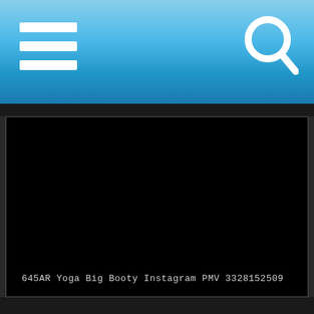[Figure (screenshot): Mobile app header bar with blue gradient background, hamburger menu icon on left, search (magnifying glass) icon on top right]
[Figure (screenshot): Black video player area with text overlay reading '645AR Yoga Big Booty Instagram PMV 3328152509' at bottom left]